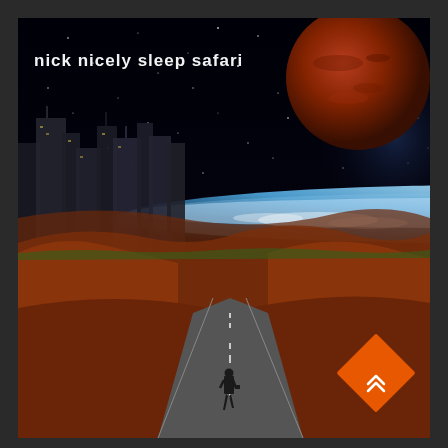[Figure (illustration): Album cover for 'Sleep Safari' by Nick Nicely. A surreal collage image: dark starfield sky with a large reddish-brown planet (Mars-like) in the upper right, and a glowing blue-white horizon of Earth or a planet curving across the middle. On the left side are dark city skyscrapers. The foreground shows red-brown desert hills and a long straight road stretching into the distance, with a lone figure in a dark suit walking away from the viewer. In the lower right corner is an orange diamond/rhombus shape with a small white arrow/chevron icon. White text in the upper left reads 'nick nicely  sleep safari'.]